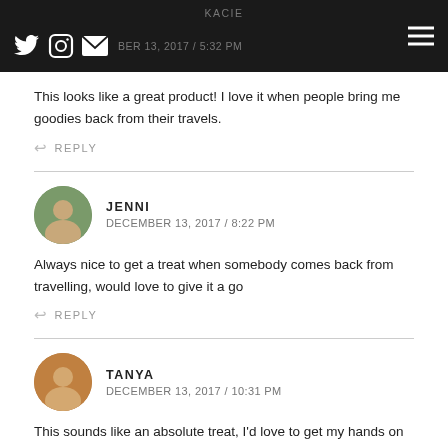KACIE / DECEMBER 13, 2017 / 5:32 PM
This looks like a great product! I love it when people bring me goodies back from their travels.
REPLY
JENNI
DECEMBER 13, 2017 / 8:22 PM
Always nice to get a treat when somebody comes back from travelling, would love to give it a go
REPLY
TANYA
DECEMBER 13, 2017 / 10:31 PM
This sounds like an absolute treat, I'd love to get my hands on this. I'll have to